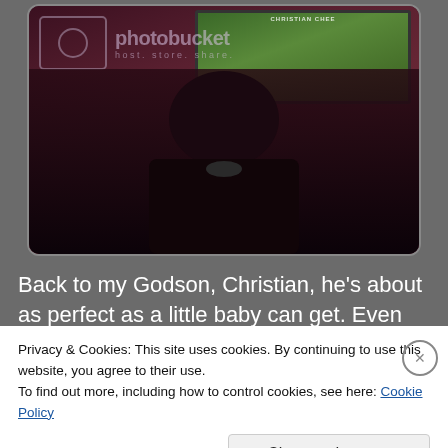[Figure (photo): A dark indoor photo showing a person (silhouette) standing in front of a wall with a framed picture/screen displaying a green book cover and Photobucket watermark overlay]
Back to my Godson, Christian, he's about as perfect as a little baby can get.  Even my sister says
Privacy & Cookies: This site uses cookies. By continuing to use this website, you agree to their use.
To find out more, including how to control cookies, see here: Cookie Policy
Close and accept